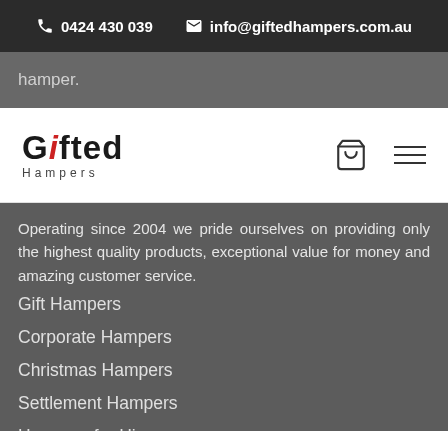0424 430 039  info@giftedhampers.com.au
hamper.
[Figure (logo): Gifted Hampers logo with stylized text; G in red, rest in black, 'Hampers' in small spaced letters below]
Operating since 2004 we pride ourselves on providing only the highest quality products, exceptional value for money and amazing customer service.
Gift Hampers
Corporate Hampers
Christmas Hampers
Settlement Hampers
Hampers for Him
Hampers for Her
About